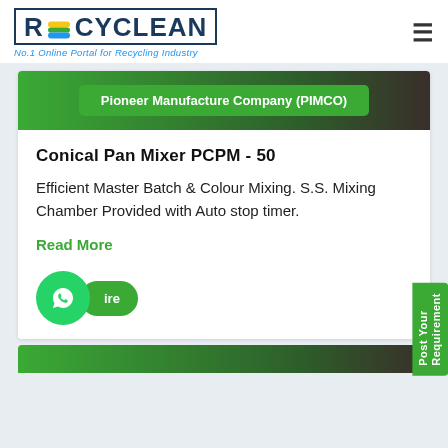RECYCLEAN — No.1 Online Portal for Recycling Industry
Pioneer Manufacture Company (PIMCO)
Conical Pan Mixer PCPM - 50
Efficient Master Batch & Colour Mixing. S.S. Mixing Chamber Provided with Auto stop timer.
Read More
Post Your Requirement